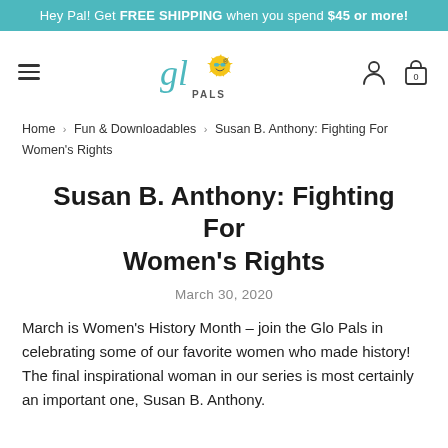Hey Pal! Get FREE SHIPPING when you spend $45 or more!
[Figure (logo): Glo Pals logo: cursive 'gl' text with a cartoon sunshine character wearing sunglasses, text 'PALS' below]
Home › Fun & Downloadables › Susan B. Anthony: Fighting For Women's Rights
Susan B. Anthony: Fighting For Women's Rights
March 30, 2020
March is Women's History Month – join the Glo Pals in celebrating some of our favorite women who made history! The final inspirational woman in our series is most certainly an important one, Susan B. Anthony.